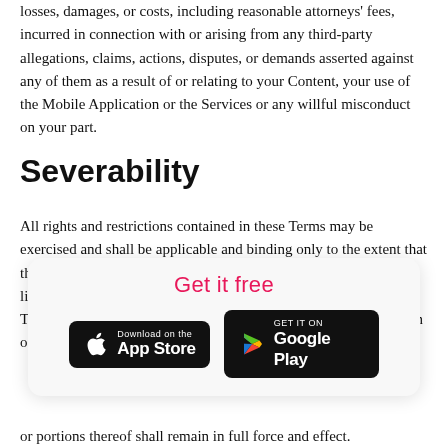losses, damages, or costs, including reasonable attorneys' fees, incurred in connection with or arising from any third-party allegations, claims, actions, disputes, or demands asserted against any of them as a result of or relating to your Content, your use of the Mobile Application or the Services or any willful misconduct on your part.
Severability
All rights and restrictions contained in these Terms may be exercised and shall be applicable and binding only to the extent that they do not violate any applicable laws and are intended to be limited to the extent necessary so that they will not render these Terms illegal, invalid, or unenforceable. If any provision or portion of any
[Figure (other): App download overlay card with 'Get it free' heading in pink, App Store button (black, Apple logo) and Google Play button (black, Play logo)]
or portions thereof shall remain in full force and effect.